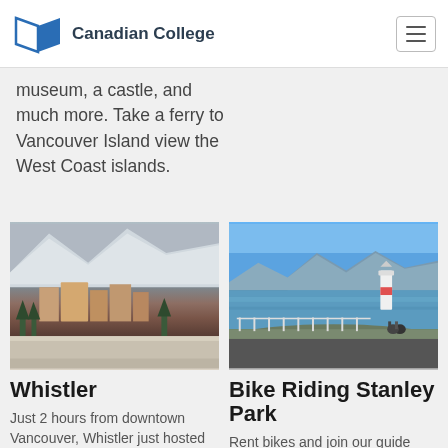Canadian College
museum, a castle, and much more. Take a ferry to Vancouver Island view the West Coast islands.
[Figure (photo): Aerial view of Whistler mountain village with snowy peaks in the background]
Whistler
Just 2 hours from downtown Vancouver, Whistler just hosted the
[Figure (photo): Cyclists riding along the Stanley Park seawall with mountains and water in background]
Bike Riding Stanley Park
Rent bikes and join our guide around the 10 km seawall. The 1000-acre